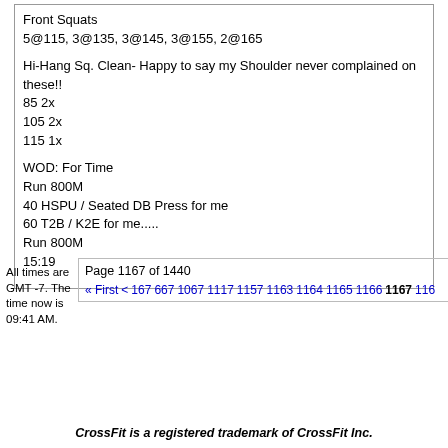Front Squats
5@115, 3@135, 3@145, 3@155, 2@165

Hi-Hang Sq. Clean- Happy to say my Shoulder never complained on these!!
85 2x
105 2x
115 1x

WOD: For Time
Run 800M
40 HSPU / Seated DB Press for me
60 T2B / K2E for me.....
Run 800M
15:19
All times are GMT -7. The time now is 09:41 AM.
Page 1167 of 1440
« First  <  167  667  1067  1117  1157  1163  1164  1165  1166  1167  116…
CrossFit is a registered trademark of CrossFit Inc.